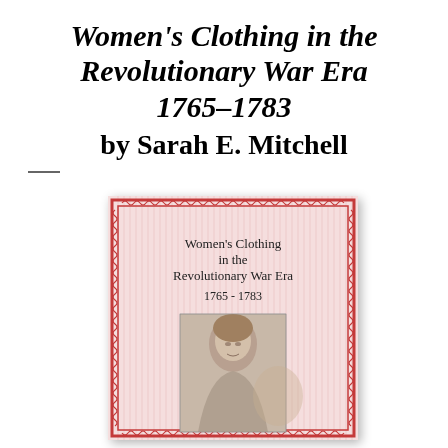Women's Clothing in the Revolutionary War Era 1765–1783 by Sarah E. Mitchell
[Figure (illustration): Book cover of 'Women's Clothing in the Revolutionary War Era 1765 - 1783' with a pink decorative border featuring repeating circle/loop pattern, pink vertical striped background, title text in the upper portion, and a black-and-white portrait photograph of a woman in the lower portion.]